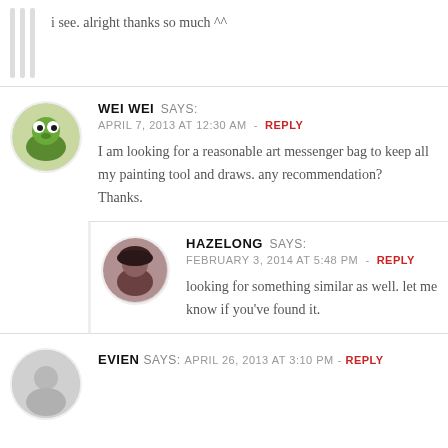i see. alright thanks so much ^^
WEI WEI SAYS: APRIL 7, 2013 AT 12:30 AM - REPLY
I am looking for a reasonable art messenger bag to keep all my painting tool and draws. any recommendation?
Thanks.
HAZELONG SAYS: FEBRUARY 3, 2014 AT 5:48 PM - REPLY
looking for something similar as well. let me know if you've found it.
EVIEN SAYS: APRIL 26, 2013 AT 3:10 PM - REPLY